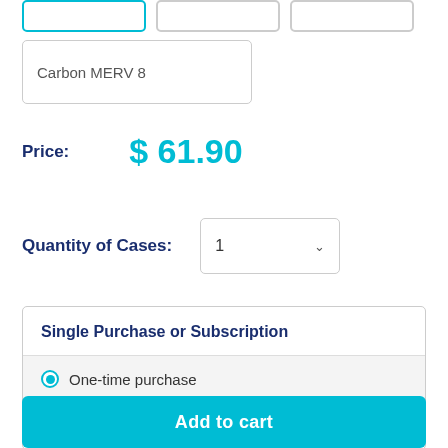Carbon MERV 8
Price: $ 61.90
Quantity of Cases: 1
Single Purchase or Subscription
One-time purchase
Subscribe & save 10% ($ 55.71)
Add to cart